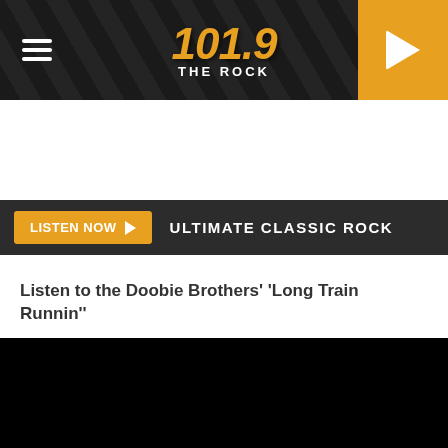101.9 THE ROCK
LISTEN NOW ▶  ULTIMATE CLASSIC ROCK
Share
Tweet
Listen to the Doobie Brothers' 'Long Train Runnin'"
[Figure (other): Black video embed area]